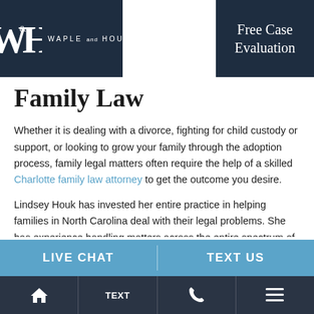[Figure (logo): Waple and Houk law firm logo with dark navy background, W&H monogram and firm name]
Free Case Evaluation
Family Law
Whether it is dealing with a divorce, fighting for child custody or support, or looking to grow your family through the adoption process, family legal matters often require the help of a skilled Charlotte family law attorney to get the outcome you desire.
Lindsey Houk has invested her entire practice in helping families in North Carolina deal with their legal problems. She has experience handling matters across the entire spectrum of family law and is ready to help you and your
LIVE CHAT
TEXT US
Home  TEXT  Phone  Menu